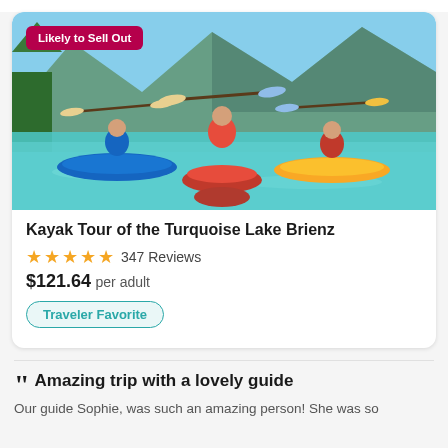[Figure (photo): Three kayakers on turquoise Lake Brienz with mountains and trees in background, holding paddles up in celebration. A 'Likely to Sell Out' badge is overlaid on the top-left.]
Kayak Tour of the Turquoise Lake Brienz
★★★★★ 347 Reviews
$121.64 per adult
Traveler Favorite
Amazing trip with a lovely guide
Our guide Sophie, was such an amazing person! She was so